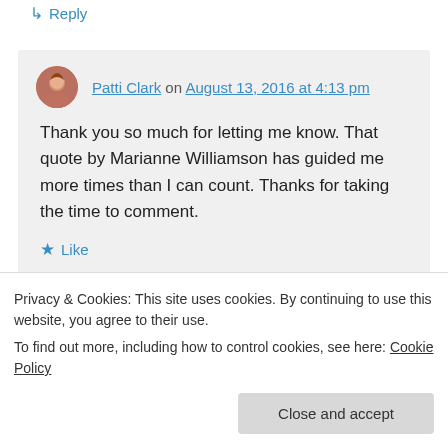↳ Reply
Patti Clark on August 13, 2016 at 4:13 pm
Thank you so much for letting me know. That quote by Marianne Williamson has guided me more times than I can count. Thanks for taking the time to comment.
★ Like
↳ Reply
Privacy & Cookies: This site uses cookies. By continuing to use this website, you agree to their use.
To find out more, including how to control cookies, see here: Cookie Policy
Close and accept